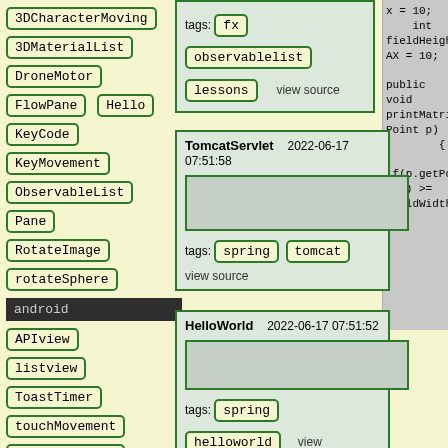3DCharacterMoving
3DMaterialList
DroneMotor
FlowPane
Hello
KeyCode
KeyMovement
ObservableList
Pane
RotateImage
rotateSphere
android
APIview
listview
ToastTimer
touchMovement
WriteReadFile
[Figure (screenshot): Card with tags: fx, observablelist, lessons and view source link]
[Figure (screenshot): TomcatServlet card dated 2022-06-17 07:51:58, tags: spring, tomcat, view source]
[Figure (screenshot): HelloWorld card dated 2022-06-17 07:51:52, tags: spring, helloworld, view]
x = 10;
    int fieldHeightMAX = 10;

public void printMatrix(Point p)
        {

if(p.getPointX() >= fieldWidthMAX)